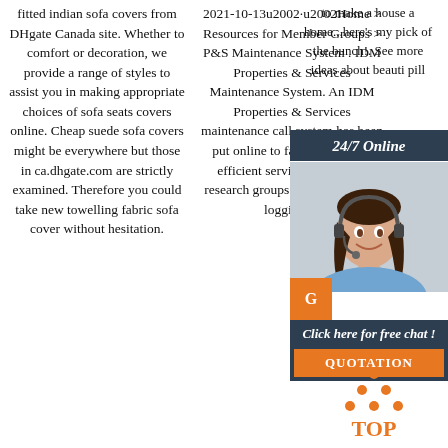fitted indian sofa covers from DHgate Canada site. Whether to comfort or decoration, we provide a range of styles to assist you in making appropriate choices of sofa seats covers online. Cheap suede sofa covers might be everywhere but those in ca.dhgate.com are strictly examined. Therefore you could take new towelling fabric sofa cover without hesitation.
2021-10-13u2002·u2002Home > Resources for Member Groups > P&S Maintenance System . IDM Properties & Services Maintenance System. An IDM Properties & Services maintenance call system has been put online to facilitate a more efficient service to the IDM research groups with regards the logging of
to make a house a home...here's my pick of the bunch!. See more ideas about beauti pill
[Figure (other): Customer service chat widget with a female agent wearing headset, '24/7 Online' header in dark blue, 'Click here for free chat!' text, orange 'G' button, and 'QUOTATION' orange button at the bottom.]
[Figure (logo): Orange 'TOP' logo with orange dot pattern forming a triangle above the word TOP in bold orange text.]